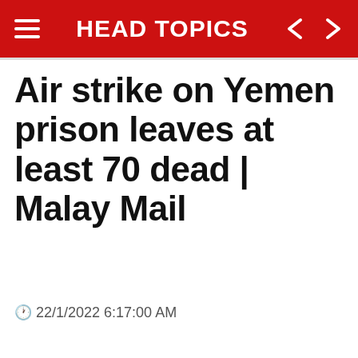HEAD TOPICS
Air strike on Yemen prison leaves at least 70 dead | Malay Mail
🕐 22/1/2022 6:17:00 AM